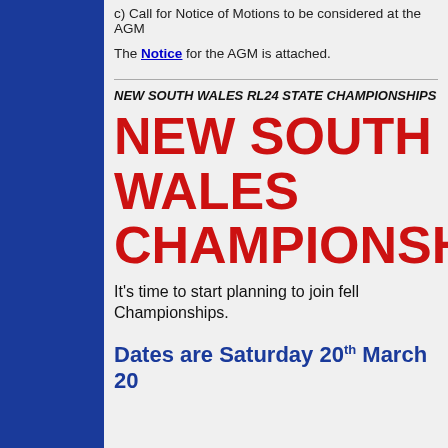c) Call for Notice of Motions to be considered at the AGM
The Notice for the AGM is attached.
NEW SOUTH WALES RL24 STATE CHAMPIONSHIPS
NEW SOUTH WALES CHAMPIONSHIPS
It's time to start planning to join fellow Championships.
Dates are Saturday 20th March 20